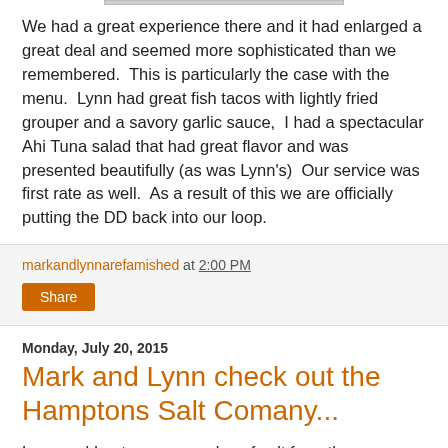We had a great experience there and it had enlarged a great deal and seemed more sophisticated than we remembered.  This is particularly the case with the menu.  Lynn had great fish tacos with lightly fried grouper and a savory garlic sauce,  I had a spectacular Ahi Tuna salad that had great flavor and was presented beautifully (as was Lynn's)  Our service was first rate as well.  As a result of this we are officially putting the DD back into our loop.
markandlynnarefamished at 2:00 PM
Share
Monday, July 20, 2015
Mark and Lynn check out the Hamptons Salt Comany...
Lynn and I got some samples of salt from the Hamptons Salt Company and were completely blown away with how